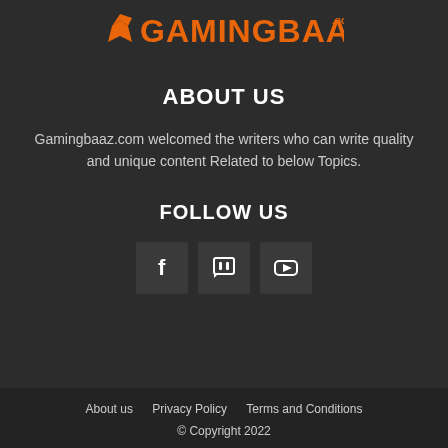[Figure (logo): GamingBaaz.com logo with orange checkmark/controller icon and orange text on dark background]
ABOUT US
Gamingbaaz.com welcomed the writers who can write quality and unique content Related to below Topics.
FOLLOW US
[Figure (infographic): Three social media icon buttons: Facebook (f), Twitch (controller icon), YouTube (play button)]
About us   Privacy Policy   Terms and Conditions
© Copyright 2022